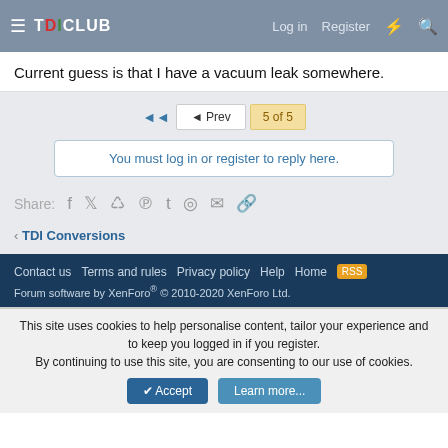TDIClub — Log in  Register
Current guess is that I have a vacuum leak somewhere.
◄◄  ◄ Prev  5 of 5
You must log in or register to reply here.
Share:
< TDI Conversions
Contact us  Terms and rules  Privacy policy  Help  Home  [RSS]  Forum software by XenForo® © 2010-2020 XenForo Ltd.
This site uses cookies to help personalise content, tailor your experience and to keep you logged in if you register. By continuing to use this site, you are consenting to our use of cookies.  Accept  Learn more...